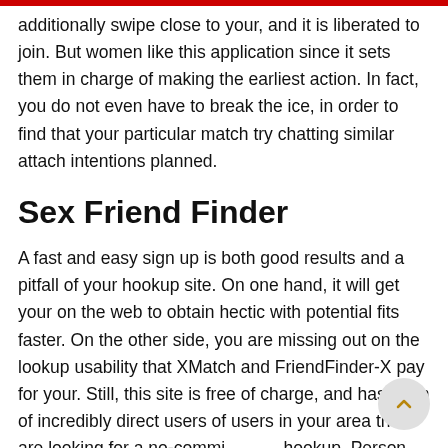additionally swipe close to your, and it is liberated to join. But women like this application since it sets them in charge of making the earliest action. In fact, you do not even have to break the ice, in order to find that your particular match try chatting similar attach intentions planned.
Sex Friend Finder
A fast and easy sign up is both good results and a pitfall of your hookup site. On one hand, it will get your on the web to obtain hectic with potential fits faster. On the other side, you are missing out on the lookup usability that XMatch and FriendFinder-X pay for your. Still, this site is free of charge, and has a ton of incredibly direct users of users in your area that are looking for a no-commi hookup. Person Friend Finder has a similar feature that enables you to browsing a "hot" a number of ideal ranked